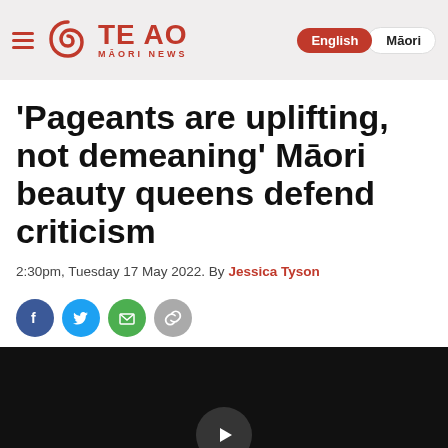TE AO MĀORI NEWS — Navigation: English / Māori
'Pageants are uplifting, not demeaning' Māori beauty queens defend criticism
2:30pm, Tuesday 17 May 2022. By Jessica Tyson
[Figure (other): Social share icons: Facebook, Twitter, Email, Link]
[Figure (other): Video player with dark background and play button]